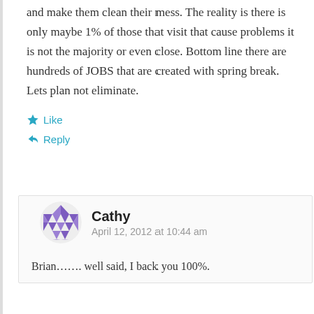and make them clean their mess. The reality is there is only maybe 1% of those that visit that cause problems it is not the majority or even close. Bottom line there are hundreds of JOBS that are created with spring break. Lets plan not eliminate.
Like
Reply
Cathy
April 12, 2012 at 10:44 am
Brian……. well said, I back you 100%.